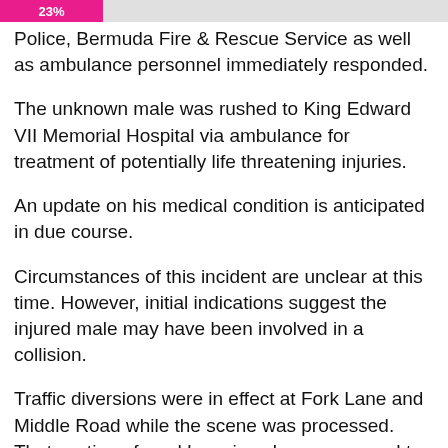[Figure (other): Pink progress bar showing 23% at top of page]
Police, Bermuda Fire & Rescue Service as well as ambulance personnel immediately responded.
The unknown male was rushed to King Edward VII Memorial Hospital via ambulance for treatment of potentially life threatening injuries.
An update on his medical condition is anticipated in due course.
Circumstances of this incident are unclear at this time. However, initial indications suggest the injured male may have been involved in a collision.
Traffic diversions were in effect at Fork Lane and Middle Road while the scene was processed. That section of road has since been reopened to normal traffic flow.
Inquiries continue and any witnesses or members of the public with information about this incident are urged to call Constable Rajiv Bailey on 211 or e-mail rbailey@bps.bm as